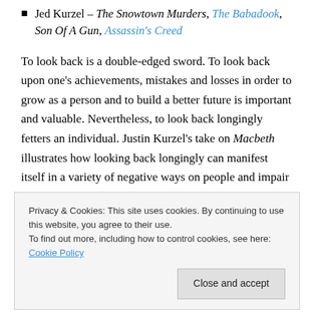Jed Kurzel – The Snowtown Murders, The Babadook, Son Of A Gun, Assassin's Creed
To look back is a double-edged sword. To look back upon one's achievements, mistakes and losses in order to grow as a person and to build a better future is important and valuable. Nevertheless, to look back longingly fetters an individual. Justin Kurzel's take on Macbeth illustrates how looking back longingly can manifest itself in a variety of negative ways on people and impair them.
[Figure (photo): A partially visible image with a grey gradient upper portion and dark lower portion, partially obscured by a cookie consent banner.]
Privacy & Cookies: This site uses cookies. By continuing to use this website, you agree to their use. To find out more, including how to control cookies, see here: Cookie Policy